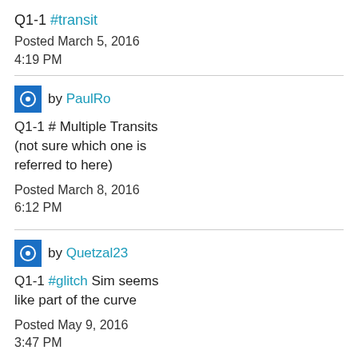Q1-1 #transit
Posted March 5, 2016
4:19 PM
by PaulRo
Q1-1 # Multiple Transits (not sure which one is referred to here)
Posted March 8, 2016
6:12 PM
by Quetzal23
Q1-1 #glitch Sim seems like part of the curve
Posted May 9, 2016
3:47 PM
by DokySamejima